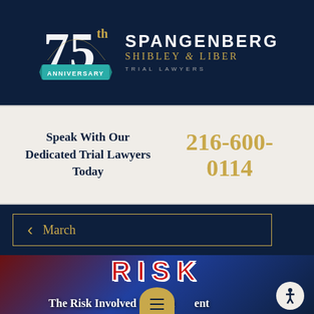[Figure (logo): Spangenberg Shibley & Liber Trial Lawyers 75th Anniversary logo with firm name]
Speak With Our Dedicated Trial Lawyers Today
216-600-0114
March
[Figure (photo): Background image showing the word RISK in large red letters, with article title 'The Risk Involved in a Settlement' overlaid in white text]